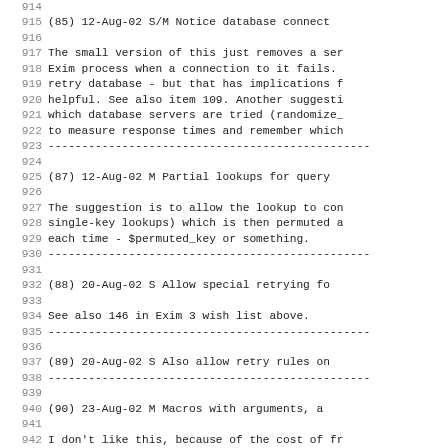914
915 (85)  12-Aug-02 S/M  Notice database connect
916
917 The small version of this just removes a ser
918 Exim process when a connection to it fails.
919 retry database - but that has implications f
920 helpful. See also item 109. Another suggesti
921 which database servers are tried (randomize_
922 to measure response times and remember which
923 -----------------------------------------------
924
925 (87)  12-Aug-02 M  Partial lookups for query
926
927 The suggestion is to allow the lookup to con
928 single-key lookups) which is then permuted a
929 each time - $permuted_key or something.
930 -----------------------------------------------
931
932 (88)  20-Aug-02 S  Allow special retrying fo
933
934 See also 146 in Exim 3 wish list above.
935 -----------------------------------------------
936
937 (89)  20-Aug-02 S  Also allow retry rules on
938 -----------------------------------------------
939
940 (90)  23-Aug-02 M  Macros with arguments, a
941
942 I don't like this, because of the cost of fr
943 -----------------------------------------------
944
945 (93)  27-Aug-02 S  queue_only_condition
946 Peter A. Sayiteh